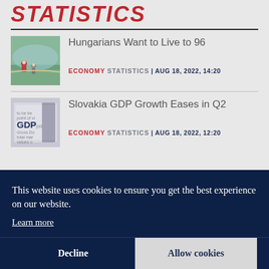STATISTICS
Hungarians Want to Live to 96
ECONOMY STATISTICS | AUG 18, 2022, 14:20
Slovakia GDP Growth Eases in Q2
ECONOMY STATISTICS | AUG 18, 2022, 12:20
This website uses cookies to ensure you get the best experience on our website.
Learn more
Decline
Allow cookies